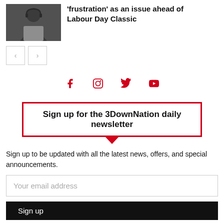[Figure (photo): Sports coach or player wearing headset, in what appears to be a stadium setting, grayscale/dark toned photo]
'frustration' as an issue ahead of Labour Day Classic
[Figure (other): Navigation arrows: left and right chevron buttons]
[Figure (other): Social media icons row: Facebook, Instagram, Twitter, YouTube — all in red]
Sign up for the 3DownNation daily newsletter
Sign up to be updated with all the latest news, offers, and special announcements.
Your email address
Sign up